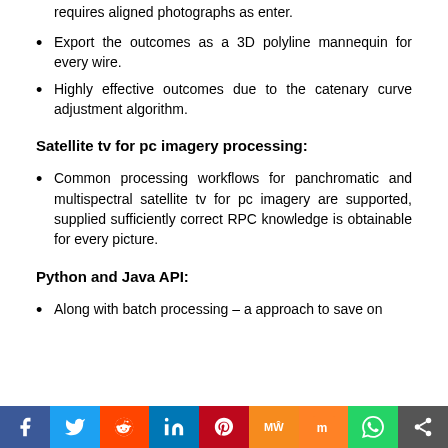requires aligned photographs as enter.
Export the outcomes as a 3D polyline mannequin for every wire.
Highly effective outcomes due to the catenary curve adjustment algorithm.
Satellite tv for pc imagery processing:
Common processing workflows for panchromatic and multispectral satellite tv for pc imagery are supported, supplied sufficiently correct RPC knowledge is obtainable for every picture.
Python and Java API:
Along with batch processing – a approach to save on